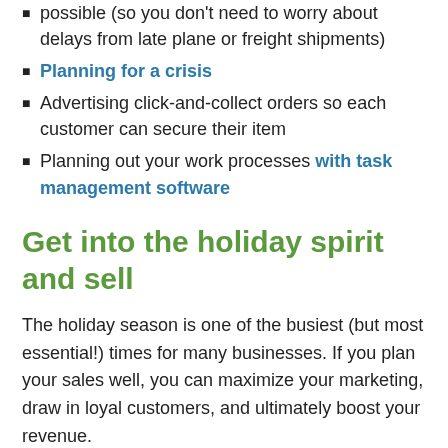possible (so you don't need to worry about delays from late plane or freight shipments)
Planning for a crisis
Advertising click-and-collect orders so each customer can secure their item
Planning out your work processes with task management software
Get into the holiday spirit and sell
The holiday season is one of the busiest (but most essential!) times for many businesses. If you plan your sales well, you can maximize your marketing, draw in loyal customers, and ultimately boost your revenue.
We hope the five tips we shared in this article will